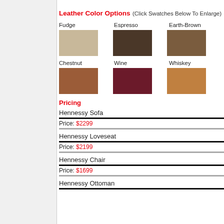Leather Color Options (Click Swatches Below To Enlarge)
Fudge   Espresso   Earth-Brown
[Figure (other): Color swatch placeholders for Fudge, Espresso, Earth-Brown leather colors]
Chestnut   Wine   Whiskey
[Figure (other): Color swatch placeholders for Chestnut, Wine, Whiskey leather colors]
Pricing
Hennessy Sofa
Price: $2299
Hennessy Loveseat
Price: $2199
Hennessy Chair
Price: $1699
Hennessy Ottoman